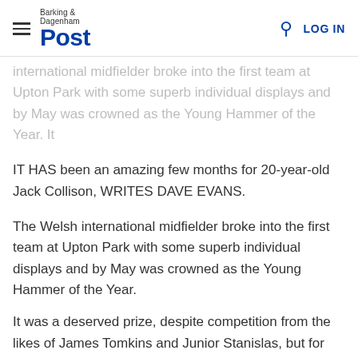Barking & Dagenham Post | LOG IN
international midfielder broke into the first team at Upton Park with some superb individual displays and by May was crowned as the Young Hammer of the Year. It
IT HAS been an amazing few months for 20-year-old Jack Collison, WRITES DAVE EVANS.
The Welsh international midfielder broke into the first team at Upton Park with some superb individual displays and by May was crowned as the Young Hammer of the Year.
It was a deserved prize, despite competition from the likes of James Tomkins and Junior Stanislas, but for Collison, his feet are still very much on the ground.